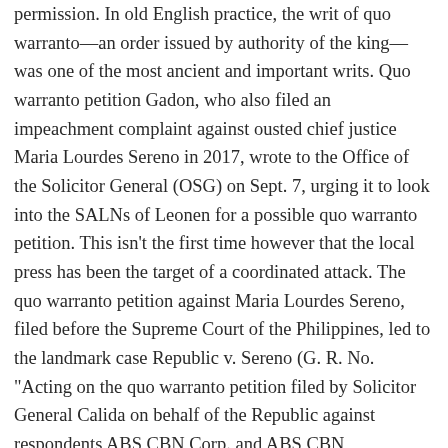permission. In old English practice, the writ of quo warranto—an order issued by authority of the king—was one of the most ancient and important writs. Quo warranto petition Gadon, who also filed an impeachment complaint against ousted chief justice Maria Lourdes Sereno in 2017, wrote to the Office of the Solicitor General (OSG) on Sept. 7, urging it to look into the SALNs of Leonen for a possible quo warranto petition. This isn't the first time however that the local press has been the target of a coordinated attack. The quo warranto petition against Maria Lourdes Sereno, filed before the Supreme Court of the Philippines, led to the landmark case Republic v. Sereno (G. R. No. "Acting on the quo warranto petition filed by Solicitor General Calida on behalf of the Republic against respondents ABS CBN Corp. and ABS CBN Convergence Inc., the Supreme Court in today's en ... How is quo warranto commenced? During the Martial Law era, journalists' rights to publish freely were stifled. Senators discuss termination of Philippine-US Visiting Forces Agreement - Duration: 32:12. As a matter of fact, the